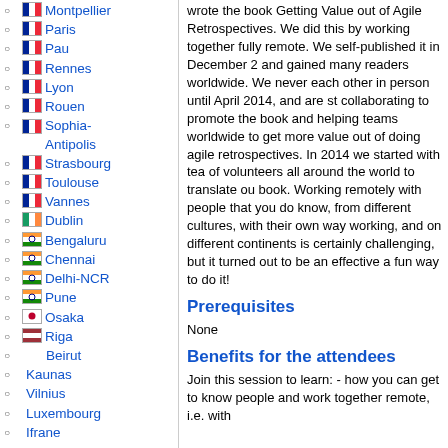Montpellier (France)
Paris (France)
Pau (France)
Rennes (France)
Lyon (France)
Rouen (France)
Sophia-Antipolis (France)
Strasbourg (France)
Toulouse (France)
Vannes (France)
Dublin (Ireland)
Bengaluru (India)
Chennai (India)
Delhi-NCR (India)
Pune (India)
Osaka (Japan)
Riga (Latvia)
Beirut
Kaunas
Vilnius
Luxembourg
Ifrane
wrote the book Getting Value out of Agile Retrospectives. We did this by working together fully remote. We self-published it in December 2 and gained many readers worldwide. We never each other in person until April 2014, and are st collaborating to promote the book and helping teams worldwide to get more value out of doing agile retrospectives. In 2014 we started with tea of volunteers all around the world to translate ou book. Working remotely with people that you do know, from different cultures, with their own way working, and on different continents is certainly challenging, but it turned out to be an effective a fun way to do it!
Prerequisites
None
Benefits for the attendees
Join this session to learn: - how you can get to know people and work together remote, i.e. with